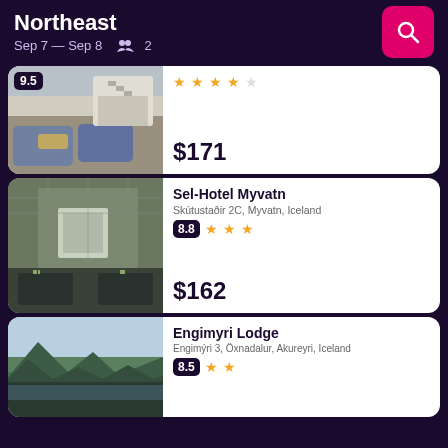Northeast
Sep 7 — Sep 8  👥 2
[Figure (photo): Hotel lobby interior with blue velvet sofas and wooden furniture]
9.5 ★★★★☆
$171
[Figure (photo): Hotel corridor interior with dark benches and green walls]
Sel-Hotel Myvatn
Skútustaðir 2C, Myvatn, Iceland
8.8 ★★★
$162
[Figure (photo): Mountain landscape with lake and sky]
Engimyri Lodge
Engimýri 3, Öxnadalur, Akureyri, Iceland
8.5 ★★